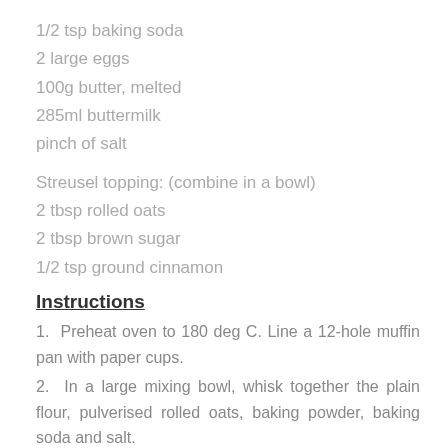1/2 tsp baking soda
2 large eggs
100g butter, melted
285ml buttermilk
pinch of salt
Streusel topping: (combine in a bowl)
2 tbsp rolled oats
2 tbsp brown sugar
1/2 tsp ground cinnamon
Instructions
1.  Preheat oven to 180 deg C. Line a 12-hole muffin pan with paper cups.
2.  In a large mixing bowl, whisk together the plain flour, pulverised rolled oats, baking powder, baking soda and salt.